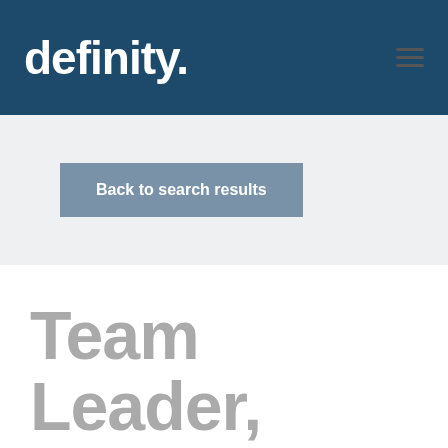definity.
Back to search results
Team Leader, Sharing Economy